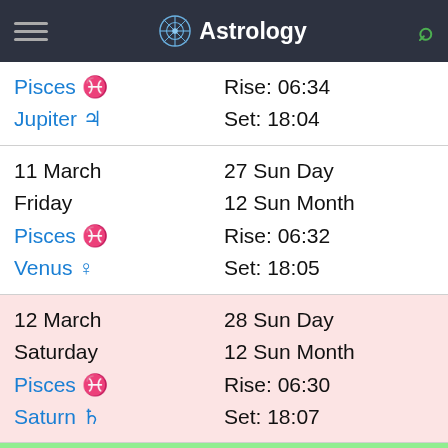Astrology
| Pisces ♓ | Rise: 06:34 | Jupiter ♃ | Set: 18:04 |
| 11 March | 27 Sun Day | Friday | 12 Sun Month | Pisces ♓ | Rise: 06:32 | Venus ♀ | Set: 18:05 |
| 12 March | 28 Sun Day | Saturday | 12 Sun Month | Pisces ♓ | Rise: 06:30 | Saturn ♄ | Set: 18:07 |
| 13 March | 29 Sun Day | Sunday | 12 Sun Month |